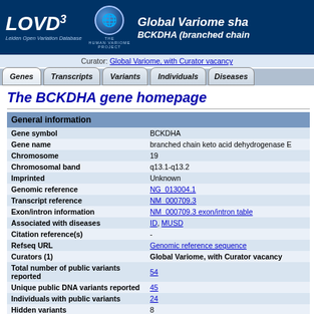LOVD3 — Global Variome sha... BCKDHA (branched chain...)
Curator: Global Variome, with Curator vacancy
Genes | Transcripts | Variants | Individuals | Diseases
The BCKDHA gene homepage
| Field | Value |
| --- | --- |
| General information |  |
| Gene symbol | BCKDHA |
| Gene name | branched chain keto acid dehydrogenase E |
| Chromosome | 19 |
| Chromosomal band | q13.1-q13.2 |
| Imprinted | Unknown |
| Genomic reference | NG_013004.1 |
| Transcript reference | NM_000709.3 |
| Exon/intron information | NM_000709.3 exon/intron table |
| Associated with diseases | ID, MUSD |
| Citation reference(s) | - |
| Refseq URL | Genomic reference sequence |
| Curators (1) | Global Variome, with Curator vacancy |
| Total number of public variants reported | 54 |
| Unique public DNA variants reported | 45 |
| Individuals with public variants | 24 |
| Hidden variants | 8 |
| Download all this gene's data | Download all data |
| Notes | Establishment of the database was supported by the European Community's Seventh Framework Programme grant agreement No 200754 - the GEN2PHE... |
| Date created | April 05, 2011 |
| Date last updated | October 05, 2021 |
| Version | BCKDHA:211005 |